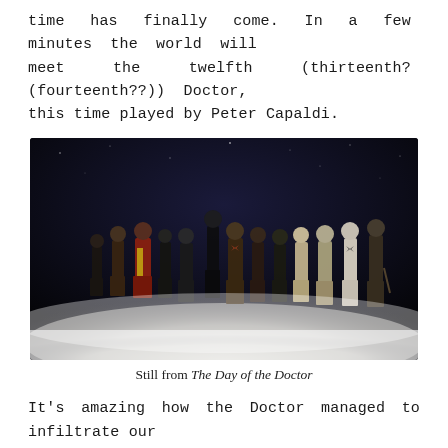time has finally come. In a few minutes the world will meet the twelfth (thirteenth? (fourteenth??)) Doctor, this time played by Peter Capaldi.
[Figure (photo): Still photograph from The Day of the Doctor showing multiple actors portraying different incarnations of the Doctor standing in a misty white environment against a dark starry background.]
Still from The Day of the Doctor
It's amazing how the Doctor managed to infiltrate our lives since the show was revived almost a decade ago. He is